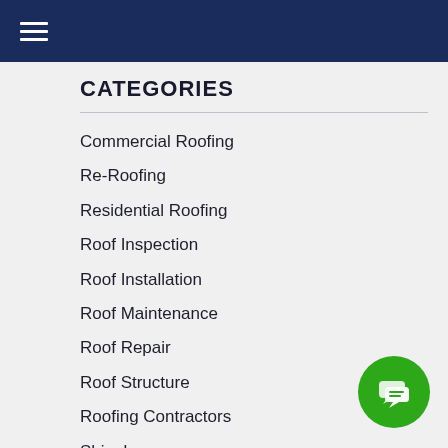CATEGORIES
Commercial Roofing
Re-Roofing
Residential Roofing
Roof Inspection
Roof Installation
Roof Maintenance
Roof Repair
Roof Structure
Roofing Contractors
Shingles
Types of Roofing
[Figure (illustration): Green circle chat button with chat bubble icon]